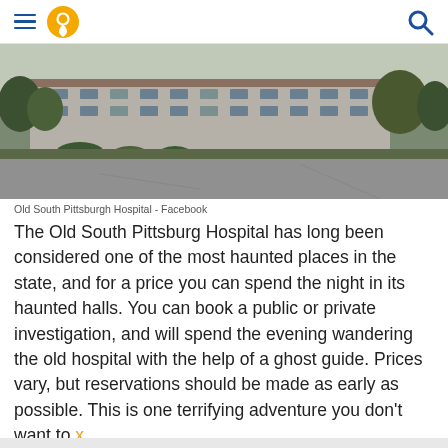Navigation header with hamburger menu, location pin icon, and search icon
[Figure (photo): Exterior photo of Old South Pittsburgh Hospital — a multi-story institutional building with trees and an empty parking lot in the foreground, overcast sky]
Old South Pittsburgh Hospital - Facebook
The Old South Pittsburg Hospital has long been considered one of the most haunted places in the state, and for a price you can spend the night in its haunted halls. You can book a public or private investigation, and will spend the evening wandering the old hospital with the help of a ghost guide. Prices vary, but reservations should be made as early as possible. This is one terrifying adventure you don't want to x slack on experiencing!
3. Hales Bar Dam - Chattanooga